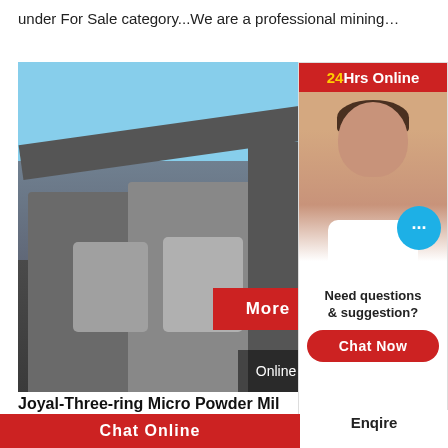under For Sale category...We are a professional mining…
[Figure (photo): Mining/crushing equipment on a job site with conveyors and large cylindrical tanks, outdoor setting with blue sky.]
Joyal-Three-ring Micro Powder Mil
2021-5-28   Three-ring Micro Powder Mill C
Chat Online